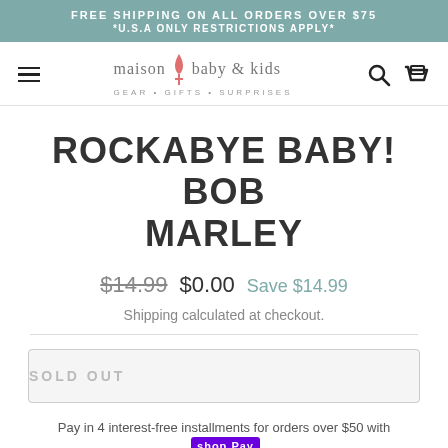FREE SHIPPING ON ALL ORDERS OVER $75 *U.S.A ONLY RESTRICTIONS APPLY*
[Figure (logo): Maison Baby & Kids logo with tagline GEAR • GIFTS • SURPRISES and navigation icons]
ROCKABYE BABY! BOB MARLEY
$14.99  $0.00  Save $14.99
Shipping calculated at checkout.
SOLD OUT
Pay in 4 interest-free installments for orders over $50 with shop Pay